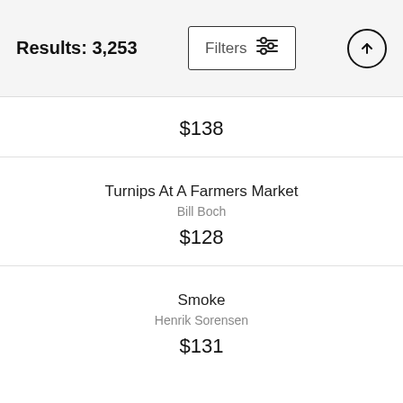Results: 3,253
$138
Turnips At A Farmers Market
Bill Boch
$128
Smoke
Henrik Sorensen
$131